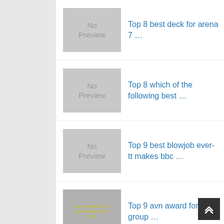Top 8 best deck for arena 7 …
Top 8 which of the following best …
Top 9 best blowjob ever-tt makes bbc …
Top 9 avn award for best group …
Top 9 which targeting option is best …